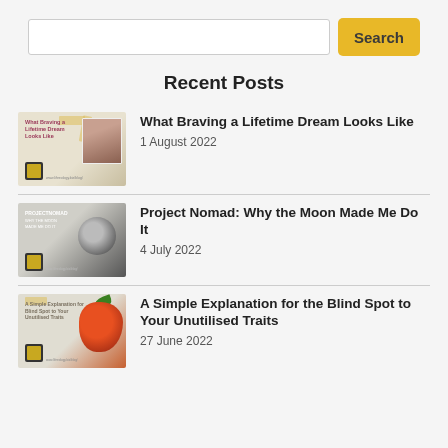[Figure (screenshot): Search input box (white rectangle) and yellow Search button]
Recent Posts
[Figure (illustration): Thumbnail image for 'What Braving a Lifetime Dream Looks Like' blog post]
What Braving a Lifetime Dream Looks Like
1 August 2022
[Figure (illustration): Thumbnail image for 'Project Nomad: Why the Moon Made Me Do It' blog post]
Project Nomad: Why the Moon Made Me Do It
4 July 2022
[Figure (illustration): Thumbnail image for 'A Simple Explanation for the Blind Spot to Your Unutilised Traits' blog post]
A Simple Explanation for the Blind Spot to Your Unutilised Traits
27 June 2022